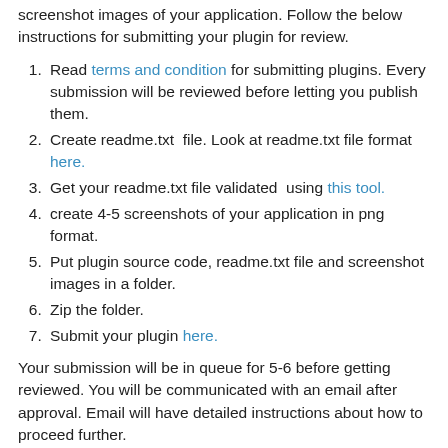screenshot images of your application. Follow the below instructions for submitting your plugin for review.
Read terms and condition for submitting plugins. Every submission will be reviewed before letting you publish them.
Create readme.txt  file. Look at readme.txt file format here.
Get your readme.txt file validated  using this tool.
create 4-5 screenshots of your application in png format.
Put plugin source code, readme.txt file and screenshot images in a folder.
Zip the folder.
Submit your plugin here.
Your submission will be in queue for 5-6 before getting reviewed. You will be communicated with an email after approval. Email will have detailed instructions about how to proceed further.